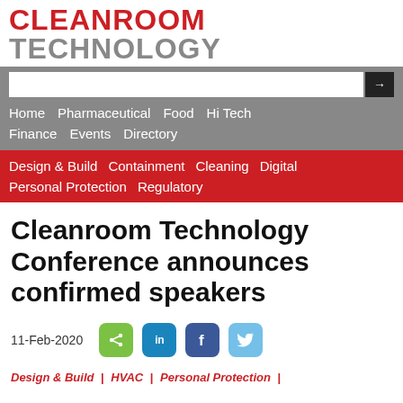CLEANROOM TECHNOLOGY
Home  Pharmaceutical  Food  Hi Tech  Finance  Events  Directory
Design & Build  Containment  Cleaning  Digital  Personal Protection  Regulatory
Cleanroom Technology Conference announces confirmed speakers
11-Feb-2020
Design & Build | HVAC | Personal Protection |